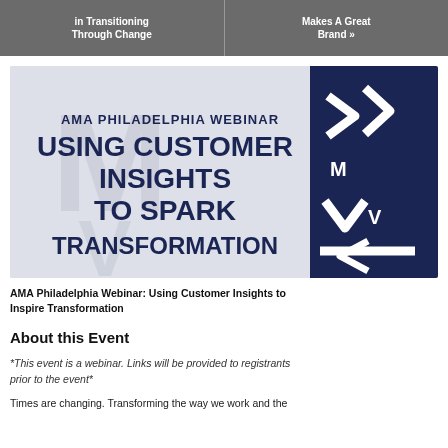in Transitioning Through Change | Makes A Great Brand »
[Figure (illustration): AMA Philadelphia Webinar banner with text: AMA PHILADELPHIA WEBINAR, USING CUSTOMER INSIGHTS TO SPARK TRANSFORMATION, with navy blue geometric design on the right side]
AMA Philadelphia Webinar: Using Customer Insights to Inspire Transformation
About this Event
*This event is a webinar. Links will be provided to registrants prior to the event*
Times are changing. Transforming the way we work and the